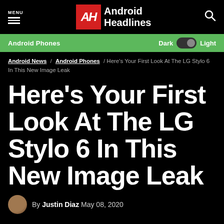MENU | Android Headlines
Android Phones | Dark | Light
Android News / Android Phones / Here's Your First Look At The LG Stylo 6 In This New Image Leak
Here's Your First Look At The LG Stylo 6 In This New Image Leak
By Justin Diaz  May 08, 2020